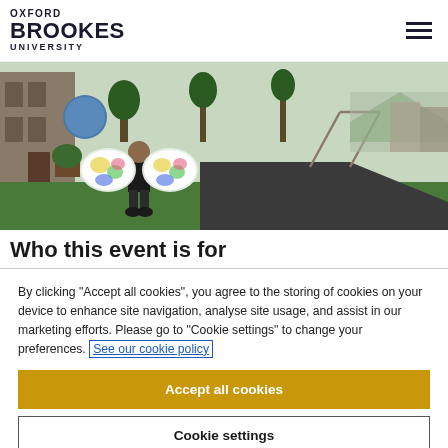OXFORD BROOKES UNIVERSITY
[Figure (photo): Child wearing colorful butterfly wings standing in a playground/garden area outdoors, viewed from behind]
Who this event is for
By clicking "Accept all cookies", you agree to the storing of cookies on your device to enhance site navigation, analyse site usage, and assist in our marketing efforts. Please go to "Cookie settings" to change your preferences. See our cookie policy
Accept all cookies
Cookie settings